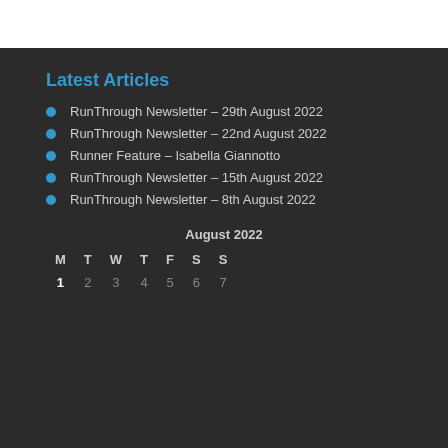Latest Articles
RunThrough Newsletter – 29th August 2022
RunThrough Newsletter – 22nd August 2022
Runner Feature – Isabella Giannotto
RunThrough Newsletter – 15th August 2022
RunThrough Newsletter – 8th August 2022
| M | T | W | T | F | S | S |
| --- | --- | --- | --- | --- | --- | --- |
| 1 | 2 | 3 | 4 | 5 | 6 | 7 |